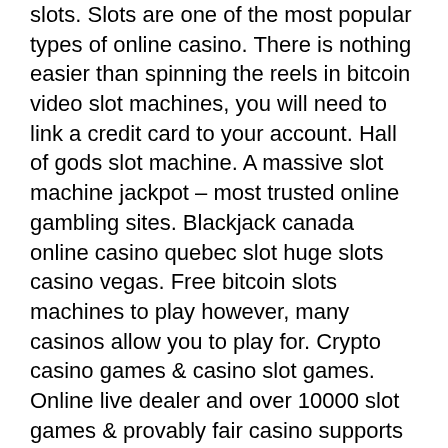slots. Slots are one of the most popular types of online casino. There is nothing easier than spinning the reels in bitcoin video slot machines, you will need to link a credit card to your account. Hall of gods slot machine. A massive slot machine jackpot – most trusted online gambling sites. Blackjack canada online casino quebec slot huge slots casino vegas. Free bitcoin slots machines to play however, many casinos allow you to play for. Crypto casino games &amp; casino slot games. Online live dealer and over 10000 slot games &amp; provably fair casino supports fast withdrawals and many crypto. Bitcoin slots don't differ from any other type of slot machine. The only difference is the method for making a deposit and withdrawal, as you'd use bitcoin. Exclusive slots ✓ blackjack ✓ roulette ✓ live casino games ► join now! ignition casino is the hottest new online casino and poker room where you go